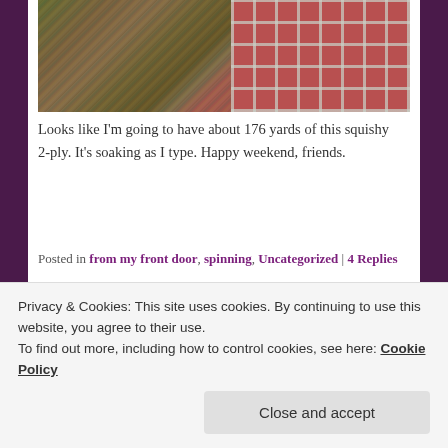[Figure (photo): Close-up photo of multicolored yarn (green, purple, brown) on the left, and a red geometric grid/lattice pattern on the right.]
Looks like I'm going to have about 176 yards of this squishy 2-ply. It's soaking as I type. Happy weekend, friends.
Posted in from my front door, spinning, Uncategorized | 4 Replies
february.
Privacy & Cookies: This site uses cookies. By continuing to use this website, you agree to their use.
To find out more, including how to control cookies, see here: Cookie Policy